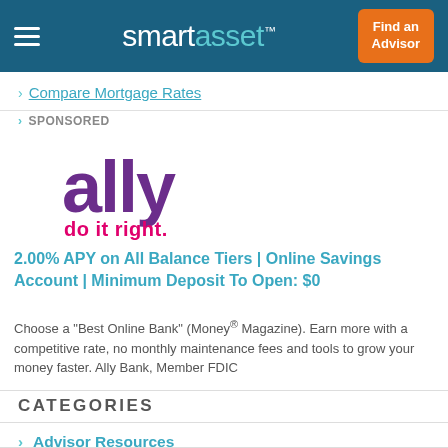smartasset™ | Find an Advisor
> Compare Mortgage Rates
> SPONSORED
[Figure (logo): Ally Bank logo with tagline 'do it right.' in purple and magenta]
2.00% APY on All Balance Tiers | Online Savings Account | Minimum Deposit To Open: $0
Choose a "Best Online Bank" (Money® Magazine). Earn more with a competitive rate, no monthly maintenance fees and tools to grow your money faster. Ally Bank, Member FDIC
CATEGORIES
> Advisor Resources
> Auto
> Career